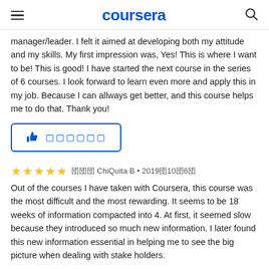coursera
manager/leader. I felt it aimed at developing both my attitude and my skills. My first impression was, Yes! This is where I want to be! This is good! I have started the next course in the series of 6 courses. I look forward to learn even more and apply this in my job. Because I can allways get better, and this course helps me to do that. Thank you!
[Figure (other): Thumbs up helpful button with like icon and placeholder text]
★★★★★ 由由由 ChiQuita B • 2019由10由6由
Out of the courses I have taken with Coursera, this course was the most difficult and the most rewarding. It seems to be 18 weeks of information compacted into 4. At first, it seemed slow because they introduced so much new information. I later found this new information essential in helping me to see the big picture when dealing with stake holders.